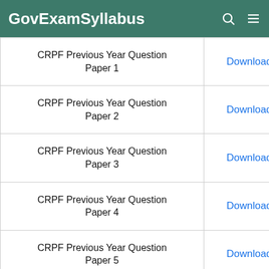GovExamSyllabus
|  |  |
| --- | --- |
| CRPF Previous Year Question Paper 1 | Download |
| CRPF Previous Year Question Paper 2 | Download |
| CRPF Previous Year Question Paper 3 | Download |
| CRPF Previous Year Question Paper 4 | Download |
| CRPF Previous Year Question Paper 5 | Download |
| CRPF Previous Year Question Paper 6 | Download |